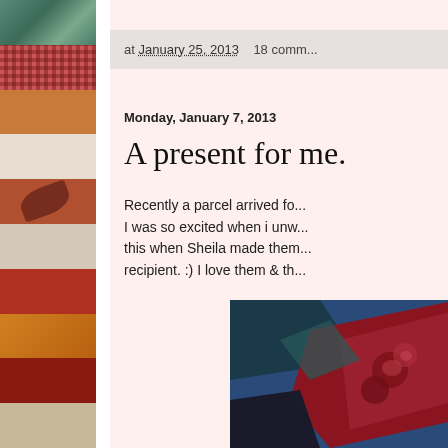[Figure (photo): Decorative sidebar with patchwork quilt fabric squares in various patterns and colors including teal, red plaid, orange, cream, burgundy with leaf pattern, crackle white, dark red floral, red crackle, orange and gold, dark red, and beige textures.]
at January 25, 2013   18 comm...
Monday, January 7, 2013
A present for me.
Recently a parcel arrived fo... I was so excited when i unw... this when Sheila made them... recipient. :) I love them & th...
[Figure (photo): Close-up photo of a patchwork quilt block showing fabrics with dark blue, teal, and red floral/rose patterns arranged in a quilt pattern.]